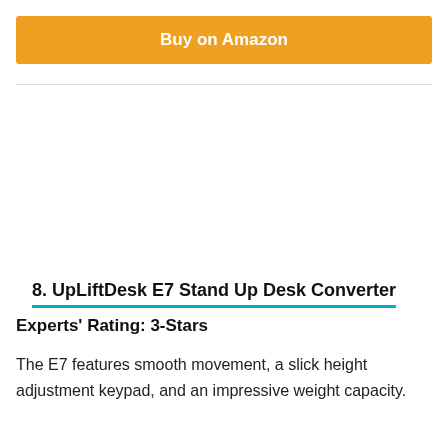Buy on Amazon
8. UpLiftDesk E7 Stand Up Desk Converter
Experts' Rating: 3-Stars
The E7 features smooth movement, a slick height adjustment keypad, and an impressive weight capacity.